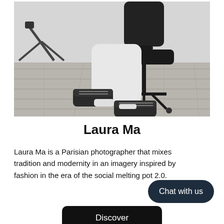[Figure (photo): Black and white photograph of a person wearing white wide-leg pants and black Converse sneakers sitting on a black office chair on a wooden floor, with a tripod visible in the background. The photo is cropped to show only from the waist down.]
Laura Ma
Laura Ma is a Parisian photographer that mixes tradition and modernity in an imagery inspired by fashion in the era of the social melting pot 2.0.
Chat with us
Discover